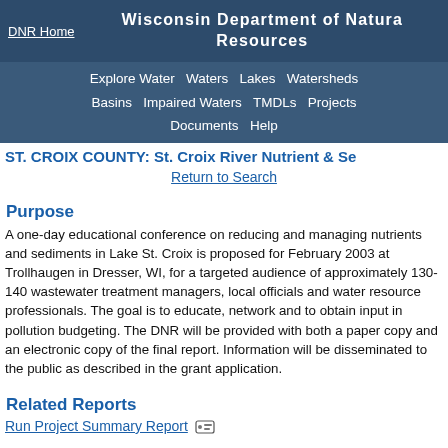DNR Home | Wisconsin Department of Natural Resources
Explore Water  Waters  Lakes  Watersheds  Basins  Impaired Waters  TMDLs  Projects  Documents  Help
ST. CROIX COUNTY: St. Croix River Nutrient & Se...
Return to Search
Purpose
A one-day educational conference on reducing and managing nutrients and sediments in Lake St. Croix is proposed for February 2003 at Trollhaugen in Dresser, WI, for a targeted audience of approximately 130-140 wastewater treatment managers, local officials and water resource professionals. The goal is to educate, network and to obtain input in pollution budgeting. The DNR will be provided with both a paper copy and an electronic copy of the final report. Information will be disseminated to the public as described in the grant application.
Related Reports
Run Project Summary Report